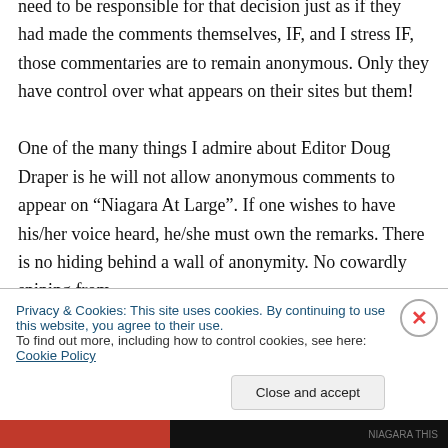need to be responsible for that decision just as if they had made the comments themselves, IF, and I stress IF, those commentaries are to remain anonymous. Only they have control over what appears on their sites but them!
One of the many things I admire about Editor Doug Draper is he will not allow anonymous comments to appear on “Niagara At Large”. If one wishes to have his/her voice heard, he/she must own the remarks. There is no hiding behind a wall of anonymity. No cowardly sniping from
Privacy & Cookies: This site uses cookies. By continuing to use this website, you agree to their use.
To find out more, including how to control cookies, see here: Cookie Policy
Close and accept